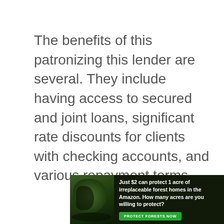The benefits of this patronizing this lender are several. They include having access to secured and joint loans, significant rate discounts for clients with checking accounts, and various repayment terms.
[Figure (other): Advertisement banner: forest/Amazon conservation ad with text 'Just $2 can protect 1 acre of irreplaceable forest homes in the Amazon. How many acres are you willing to protect?' and a green 'PROTECT FORESTS NOW' button, with a nature/wildlife image on the left.]